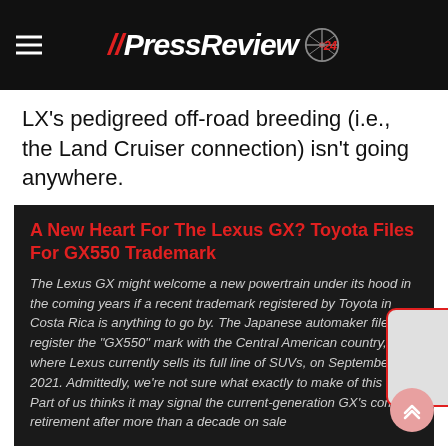//PressReview24
LX's pedigreed off-road breeding (i.e., the Land Cruiser connection) isn't going anywhere.
A New Heart For The Lexus GX? Toyota Files For GX550 Trademark
The Lexus GX might welcome a new powertrain under its hood in the coming years if a recent trademark registered by Toyota in Costa Rica is anything to go by. The Japanese automaker filed to register the "GX550" mark with the Central American country, where Lexus currently sells its full line of SUVs, on September 7, 2021. Admittedly, we're not sure what exactly to make of this filing. Part of us thinks it may signal the current-generation GX's coming retirement after more than a decade on sale